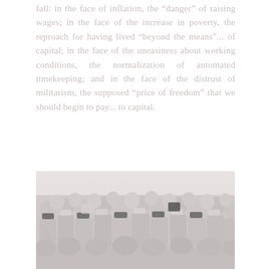fall: in the face of inflation, the "danger" of raising wages; in the face of the increase in poverty, the reproach for having lived "beyond the means"... of capital; in the face of the uneasiness about working conditions, the normalization of automated timekeeping; and in the face of the distrust of militarism, the supposed "price of freedom" that we should begin to pay... to capital.
[Figure (photo): A crowd of people wearing face masks, appearing to be at a protest or public gathering, shown in a faded/washed-out color treatment.]